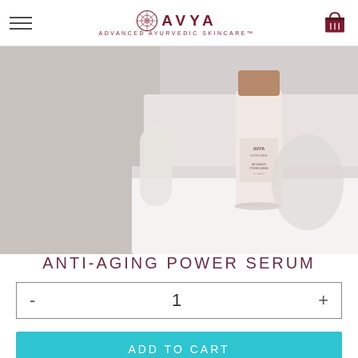AVYA ADVANCED AYURVEDIC SKINCARE™
[Figure (photo): Product photo of AVYA Anti-Aging Power Serum bottle with rose gold cap on white geometric surface with soft shadows]
ANTI-AGING POWER SERUM
- 1 +
ADD TO CART